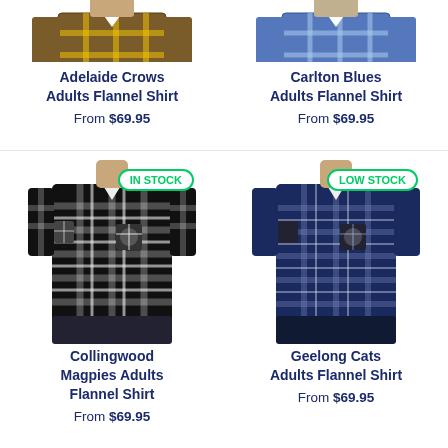[Figure (photo): Adelaide Crows Adults Flannel Shirt product photo, partially cropped at top]
Adelaide Crows Adults Flannel Shirt
From $69.95
[Figure (photo): Carlton Blues Adults Flannel Shirt product photo, partially cropped at top]
Carlton Blues Adults Flannel Shirt
From $69.95
[Figure (photo): Collingwood Magpies Adults Flannel Shirt product photo, full view, with IN STOCK badge]
Collingwood Magpies Adults Flannel Shirt
From $69.95
[Figure (photo): Geelong Cats Adults Flannel Shirt product photo, full view, with LOW STOCK badge]
Geelong Cats Adults Flannel Shirt
From $69.95